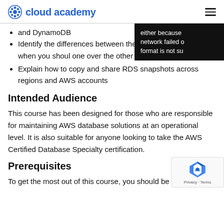cloud academy
and DynamoDB
Identify the differences between the backup features and when you should one over the other
Explain how to copy and share RDS snapshots across regions and AWS accounts
Intended Audience
This course has been designed for those who are responsible for maintaining AWS database solutions at an operational level. It is also suitable for anyone looking to take the AWS Certified Database Specialty certification.
Prerequisites
To get the most out of this course, you should be